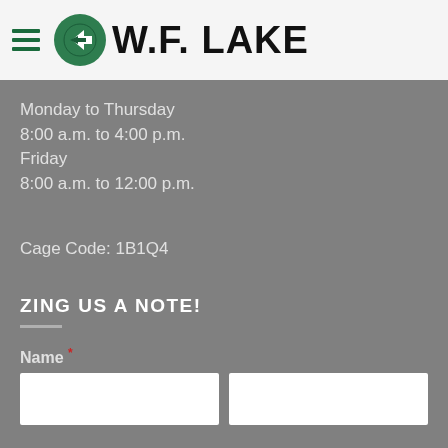[Figure (logo): W.F. Lake company logo with green circular icon and bold black text]
Monday to Thursday
8:00 a.m. to 4:00 p.m.
Friday
8:00 a.m. to 12:00 p.m.
Cage Code: 1B1Q4
ZING US A NOTE!
Name *